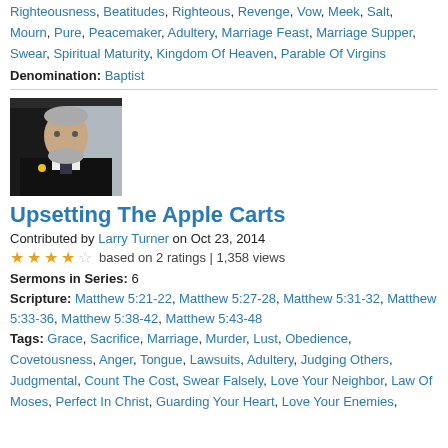Righteousness, Beatitudes, Righteous, Revenge, Vow, Meek, Salt, Mourn, Pure, Peacemaker, Adultery, Marriage Feast, Marriage Supper, Swear, Spiritual Maturity, Kingdom Of Heaven, Parable Of Virgins
Denomination: Baptist
[Figure (photo): Portrait photo of a middle-aged man with gray beard wearing a dark suit with a yellow pin, photographed against a light background.]
Upsetting The Apple Carts
Contributed by Larry Turner on Oct 23, 2014
★★★★☆ based on 2 ratings | 1,358 views
Sermons in Series: 6
Scripture: Matthew 5:21-22, Matthew 5:27-28, Matthew 5:31-32, Matthew 5:33-36, Matthew 5:38-42, Matthew 5:43-48
Tags: Grace, Sacrifice, Marriage, Murder, Lust, Obedience, Covetousness, Anger, Tongue, Lawsuits, Adultery, Judging Others, Judgmental, Count The Cost, Swear Falsely, Love Your Neighbor, Law Of Moses, Perfect In Christ, Guarding Your Heart, Love Your Enemies,